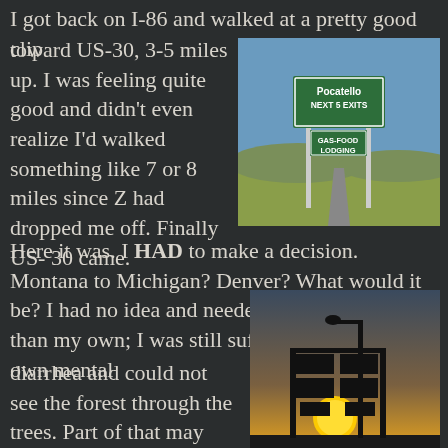I got back on I-86 and walked at a pretty good clip toward US-30, 3-5 miles up. I was feeling quite good and didn't even realize I'd walked something like 7 or 8 miles since Z had dropped me off. Finally US- 30 came.
[Figure (photo): A highway road sign reading 'Pocatello NEXT 5 EXITS GAS-FOOD LODGING' beside a straight road through flat farmland under a blue sky.]
Here it was. I HAD to make a decision. Montana to Michigan? Denver? What would it be? I had no idea and needed some input other than my own; I was still suffering a bit from my own mental diarrhea and could not see the forest through the trees. Part of that may have been due to mental
[Figure (photo): A silhouette of a highway interchange sign structure with multiple directional signs, backlit by a bright setting sun, against a dusky sky.]